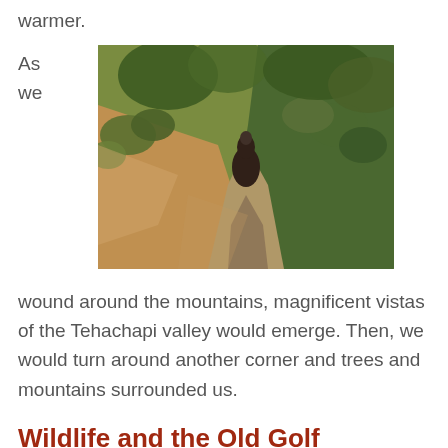warmer.
As we
[Figure (photo): A trail through dry hillside with scrub oak trees; a rider on horseback visible from behind on the narrow dirt path, with sunlit brown hills and green-grey foliage surrounding the trail.]
wound around the mountains, magnificent vistas of the Tehachapi valley would emerge. Then, we would turn around another corner and trees and mountains surrounded us.
Wildlife and the Old Golf Course